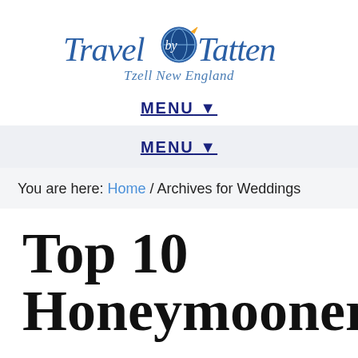[Figure (logo): Travel by Tatten logo with cursive script text and globe icon, tagline 'Tzell New England' below]
MENU ▼
MENU ▼
You are here: Home / Archives for Weddings
Top 10 Honeymooner